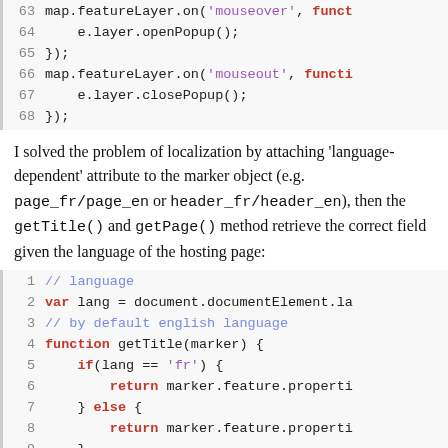Code block lines 63-68: map.featureLayer.on('mouseover', funct ... e.layer.openPopup(); }); map.featureLayer.on('mouseout', functi ... e.layer.closePopup(); });
I solved the problem of localization by attaching 'language-dependent' attribute to the marker object (e.g. page_fr/page_en or header_fr/header_en), then the getTitle() and getPage() method retrieve the correct field given the language of the hosting page:
Code block lines 1-10: // language  var lang = document.documentElement.la  // by default english language  function getTitle(marker) {  if(lang == 'fr') {  return marker.feature.properti  } else {  return marker.feature.properti  }  };